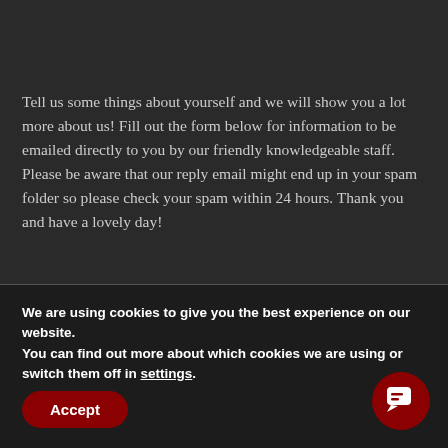Tell us some things about yourself and we will show you a lot more about us! Fill out the form below for information to be emailed directly to you by our friendly knowledgeable staff. Please be aware that our reply email might end up in your spam folder so please check your spam within 24 hours. Thank you and have a lovely day!
First name* Last name*
We are using cookies to give you the best experience on our website.
You can find out more about which cookies we are using or switch them off in settings.